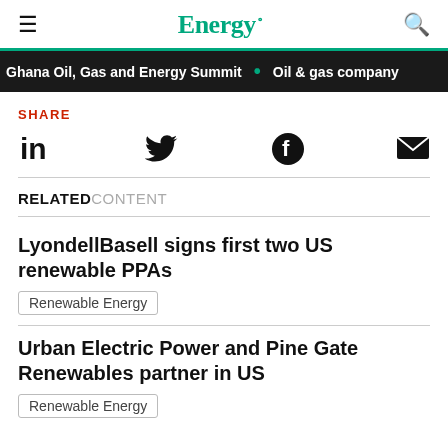Energy.
Ghana Oil, Gas and Energy Summit • Oil & gas company
SHARE
[Figure (infographic): Social share icons: LinkedIn (in), Twitter (bird), Facebook (f circle), Email (envelope)]
RELATED CONTENT
LyondellBasell signs first two US renewable PPAs
Renewable Energy
Urban Electric Power and Pine Gate Renewables partner in US
Renewable Energy